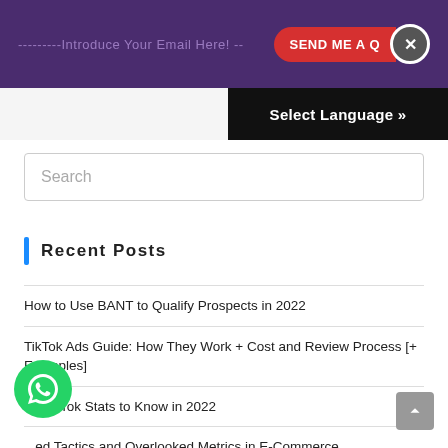---------Introduce Your Email Here! -- SEND ME A Q ✕
Select Language »
Search
Recent Posts
How to Use BANT to Qualify Prospects in 2022
TikTok Ads Guide: How They Work + Cost and Review Process [+ Examples]
43 TikTok Stats to Know in 2022
...ed Tactics and Overlooked Metrics in E-Commerce
FAQ Schema: A Beginner's Guide – Neil Patel